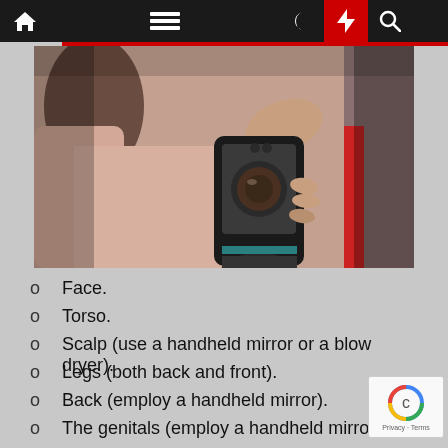Navigation bar with home, menu, dark mode, flash, and search icons
[Figure (photo): A person using a smartphone with a dermatoscope attachment to photograph a skin lesion on someone's back/shoulder. A healthcare professional appears to be conducting a skin examination using a mobile dermoscopy device.]
Face.
Torso.
Scalp (use a handheld mirror or a blow dryer).
Legs (both back and front).
Back (employ a handheld mirror).
The genitals (employ a handheld mirror).